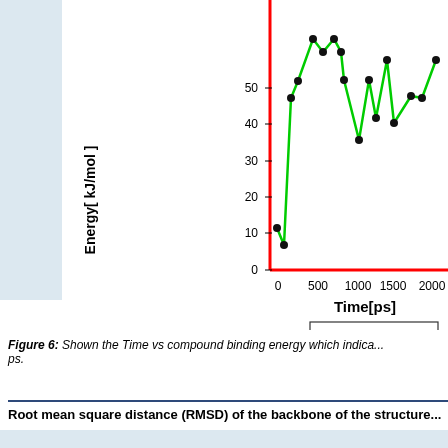[Figure (line-chart): ]
Figure 6: Shown the Time vs compound binding energy which indica... ps.
Root mean square distance (RMSD) of the backbone of the structure...